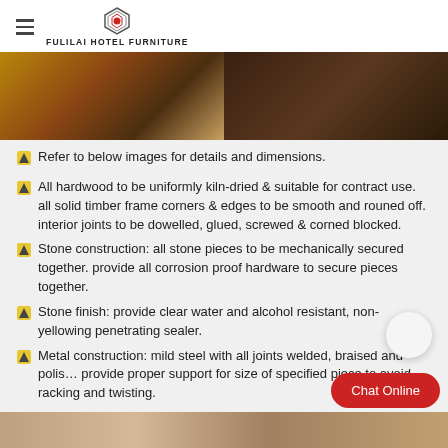FULILAI HOTEL FURNITURE
[Figure (photo): Two hotel room furniture photos side by side: left shows dark wood sofa/coffee table set on patterned carpet; right shows dark wood dresser/cabinet]
Refer to below images for details and dimensions.
All hardwood to be uniformly kiln-dried & suitable for contract use. all solid timber frame corners & edges to be smooth and rouned off. interior joints to be dowelled, glued, screwed & corned blocked.
Stone construction: all stone pieces to be mechanically secured together. provide all corrosion proof hardware to secure pieces together.
Stone finish: provide clear water and alcohol resistant, non-yellowing penetrating sealer.
Metal construction: mild steel with all joints welded, braised and polis… provide proper support for size of specified piece to avoid racking and twisting.
[Figure (photo): Bottom strip photo of hotel room flooring/furniture texture]